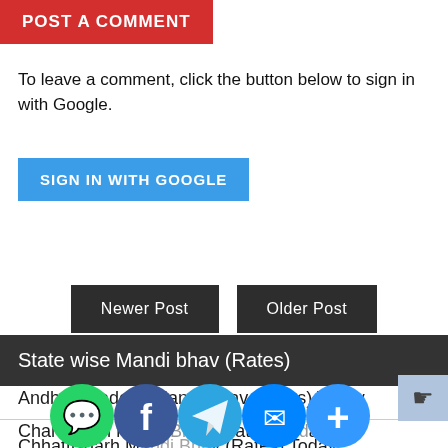POST A COMMENT
To leave a comment, click the button below to sign in with Google.
[Figure (other): Blue 'SIGN IN WITH GOOGLE' button]
[Figure (other): Newer Post and Older Post navigation buttons]
State wise Mandi bhav (Rates)
Andhra Pradesh Mandi Bhav (Rates) Today
Chandigarh Mandi Bhav (Rates) Today
Chhattisgarh Mandi Bhav (Rates) Today
[Figure (other): Social media sharing icons: WhatsApp, Facebook, Telegram, Messenger, More]